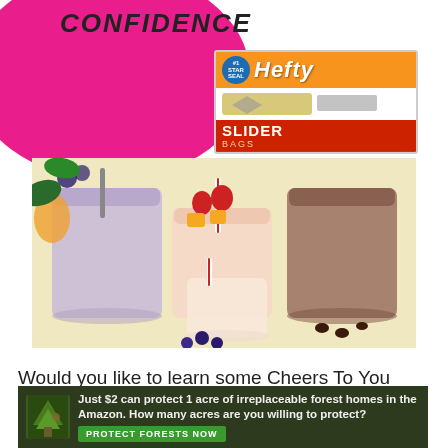[Figure (illustration): Pink circular background with 'CONFIDENCE' text in bold italic, and a Hefty Slider Bags product box on the right]
[Figure (photo): Three smoothie drinks in glasses with fruit toppings including berries, mango and strawberries on a light background]
Would you like to learn some Cheers To You Nutrition Recipes? Have you been trying and failing in the kitchen ...
[Figure (infographic): Green forest conservation banner: 'Just $2 can protect 1 acre of irreplaceable forest homes in the Amazon. How many acres are you willing to protect?' with a green 'PROTECT FORESTS NOW' button]